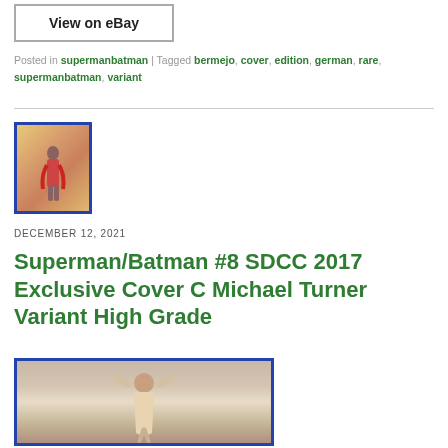[Figure (other): View on eBay button]
Posted in supermanbatman | Tagged bermejo, cover, edition, german, rare, supermanbatman, variant
[Figure (photo): Small thumbnail of a comic book cover showing a figure in red and gold against an orange/yellow background, framed with blue border]
DECEMBER 12, 2021
Superman/Batman #8 SDCC 2017 Exclusive Cover C Michael Turner Variant High Grade
[Figure (photo): Comic book photo on wooden surface showing a figure with flowing hair, framed with blue border]